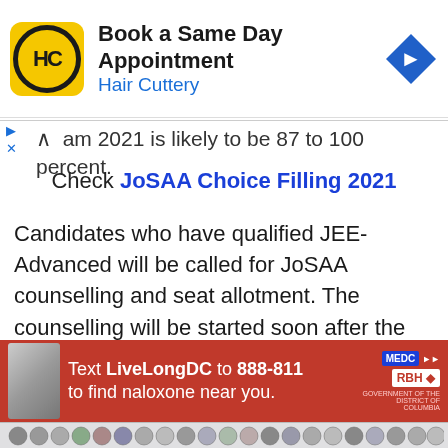[Figure (other): Advertisement banner for Hair Cuttery: Book a Same Day Appointment, with yellow HC logo and blue diamond arrow icon]
...am 2021 is likely to be 87 to 100 percent.
Check JoSAA Choice Filling 2021
Candidates who have qualified JEE-Advanced will be called for JoSAA counselling and seat allotment. The counselling will be started soon after the result. According to the rank obtained in the examination, IIT will give admission to the candidates in the course of B.Tech...
[Figure (other): Advertisement banner in red: Text LiveLongDC to 888-811 to find naloxone near you, with MeDC and RBH logos]
Browser navigation bar with website icons